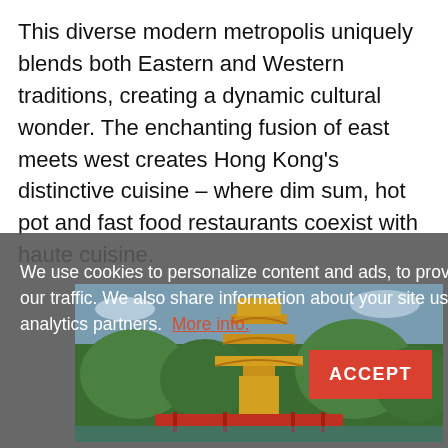This diverse modern metropolis uniquely blends both Eastern and Western traditions, creating a dynamic cultural wonder. The enchanting fusion of east meets west creates Hong Kong's distinctive cuisine – where dim sum, hot pot and fast food restaurants coexist with haute cuisine.
We use cookies to personalize content and ads, to provide social media features and to analyze our traffic. We also share information about your site usage with our social media, advertising and analytics partners.  More info.
[Figure (photo): Photo of a golden pagoda temple structure with red bridge and green trees, likely from Hong Kong's Nan Lian Garden]